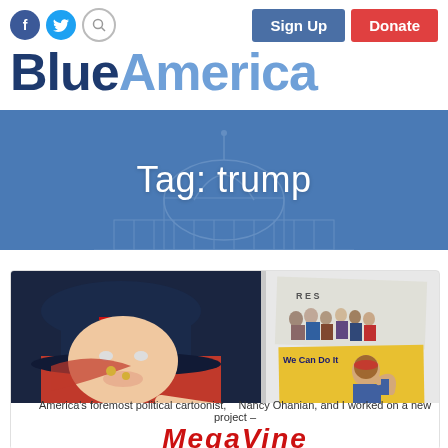BlueAmerica
Tag: trump
[Figure (screenshot): Website screenshot of BlueAmerica political blog with header navigation, social icons (Facebook, Twitter, search), Sign Up and Donate buttons, large site logo 'BlueAmerica' in dark and light blue, blue banner with 'Tag: trump' text over a faded Capitol dome background, and an article card below showing a political cartoon collage with a Trump figure, group photo, and 'We Can Do It' poster parody]
America's foremost political cartoonist, Nancy Ohanian, and I worked on a new project –
MegaVine